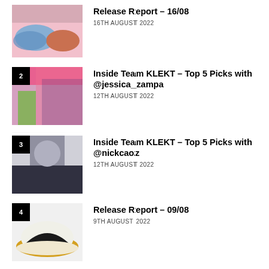Release Report – 16/08
16TH AUGUST 2022
Inside Team KLEKT – Top 5 Picks with @jessica_zampa
12TH AUGUST 2022
Inside Team KLEKT – Top 5 Picks with @nickcaoz
12TH AUGUST 2022
Release Report – 09/08
9TH AUGUST 2022
Release Report – 02/08